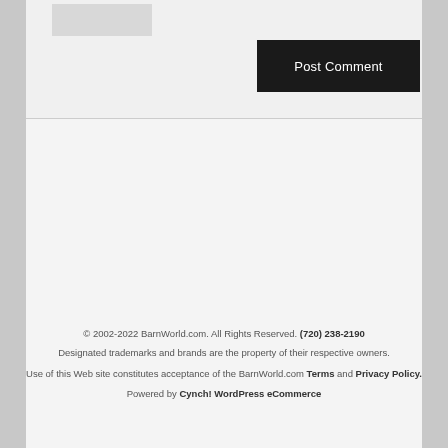[Figure (screenshot): Partial web form UI with an input/thumbnail area and a dark 'Post Comment' button]
© 2002-2022 BarnWorld.com. All Rights Reserved. (720) 238-2190
Designated trademarks and brands are the property of their respective owners.
Use of this Web site constitutes acceptance of the BarnWorld.com Terms and Privacy Policy.
Powered by Cynch! WordPress eCommerce